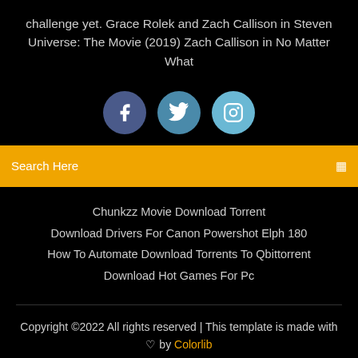challenge yet. Grace Rolek and Zach Callison in Steven Universe: The Movie (2019) Zach Callison in No Matter What
[Figure (infographic): Three social media icons: Facebook (dark blue circle with 'f'), Twitter (medium blue circle with bird icon), Instagram (light blue circle with camera icon)]
Search Here
Chunkzz Movie Download Torrent
Download Drivers For Canon Powershot Elph 180
How To Automate Download Torrents To Qbittorrent
Download Hot Games For Pc
Copyright ©2022 All rights reserved | This template is made with ♡ by Colorlib